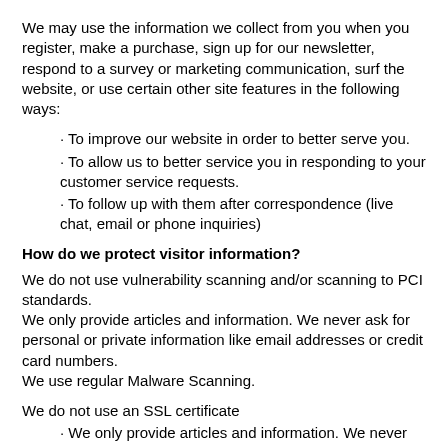We may use the information we collect from you when you register, make a purchase, sign up for our newsletter, respond to a survey or marketing communication, surf the website, or use certain other site features in the following ways:
· To improve our website in order to better serve you.
· To allow us to better service you in responding to your customer service requests.
· To follow up with them after correspondence (live chat, email or phone inquiries)
How do we protect visitor information?
We do not use vulnerability scanning and/or scanning to PCI standards.
We only provide articles and information. We never ask for personal or private information like email addresses or credit card numbers.
We use regular Malware Scanning.
We do not use an SSL certificate
· We only provide articles and information. We never ask for personal or private information like email addresses, or credit card numbers.